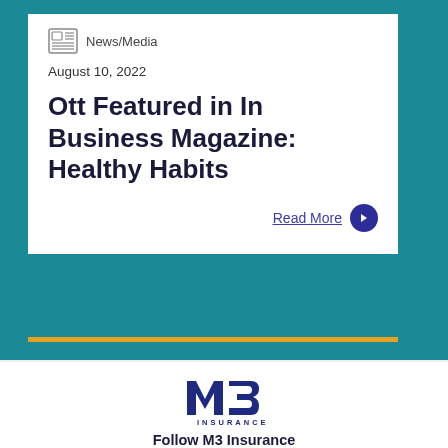News/Media
August 10, 2022
Ott Featured in In Business Magazine: Healthy Habits
Read More
[Figure (logo): M3 Insurance logo — stylized M3 letters in dark blue with 'INSURANCE' text below]
Follow M3 Insurance